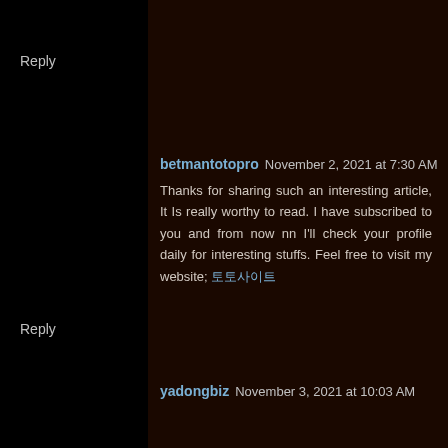Reply
betmantotopro  November 2, 2021 at 7:30 AM
Thanks for sharing such an interesting article, It Is really worthy to read. I have subscribed to you and from now nn I'll check your profile daily for interesting stuffs. Feel free to visit my website; 토토사이트
Reply
yadongbiz  November 3, 2021 at 10:03 AM
If more people that write articles really concerned themselves with writing great content like you, more readers would be interested in their writings. Thank you for caring about your content. 야동
Reply